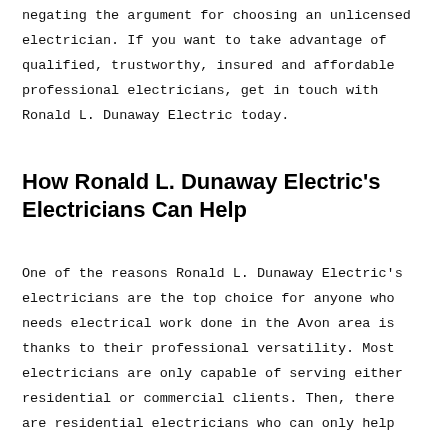negating the argument for choosing an unlicensed electrician. If you want to take advantage of qualified, trustworthy, insured and affordable professional electricians, get in touch with Ronald L. Dunaway Electric today.
How Ronald L. Dunaway Electric's Electricians Can Help
One of the reasons Ronald L. Dunaway Electric's electricians are the top choice for anyone who needs electrical work done in the Avon area is thanks to their professional versatility. Most electricians are only capable of serving either residential or commercial clients. Then, there are residential electricians who can only help